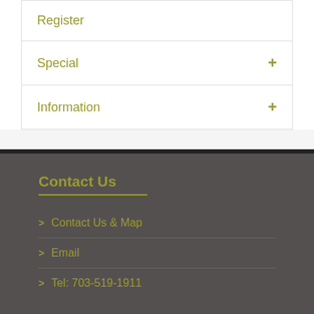Register
Special
Information
Contact Us
> Contact Us & Map
> Email
> Tel: 703-519-1911
Facebook